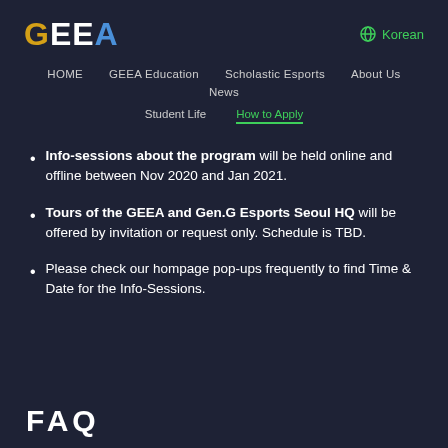[Figure (logo): GEEA logo with colored letters: G in gold/yellow, EE in white, A in blue]
Korean (globe icon)
HOME   GEEA Education   Scholastic Esports   About Us   News   Student Life   How to Apply
Info-sessions about the program will be held online and offline between Nov 2020 and Jan 2021.
Tours of the GEEA and Gen.G Esports Seoul HQ will be offered by invitation or request only. Schedule is TBD.
Please check our hompage pop-ups frequently to find Time & Date for the Info-Sessions.
FAQ